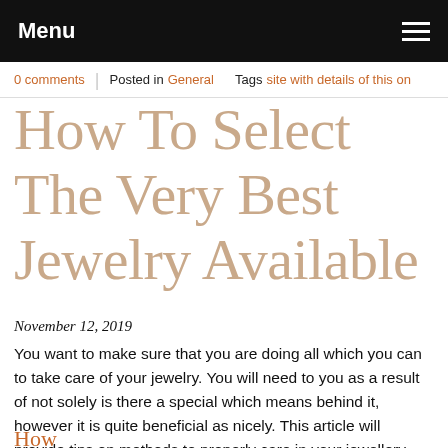Menu
0 comments | Posted in General   Tags site with details of this on
How To Select The Very Best Jewelry Available
November 12, 2019
You want to make sure that you are doing all which you can to take care of your jewelry. You will need to you as a result of not solely is there a special which means behind it, however it is quite beneficial as nicely. This article will provide tips on methods to properly care in your jewellery.
How